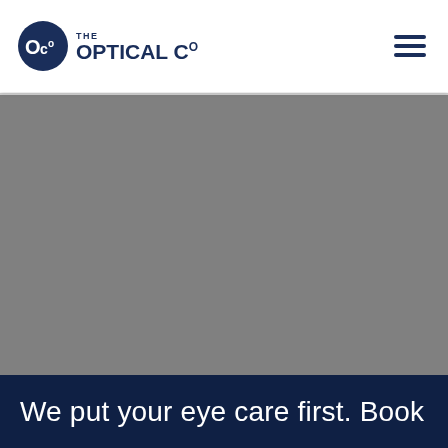[Figure (logo): The Optical Co logo: blue circle with OCo text inside, followed by 'THE OPTICAL Co' wordmark in dark navy]
[Figure (photo): Gray hero image placeholder (image not loaded), taking up the middle section of the page]
We put your eye care first. Book